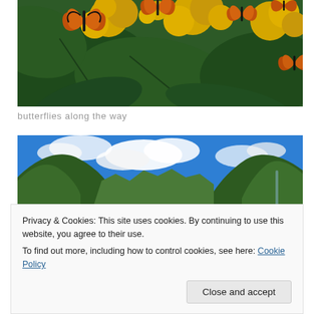[Figure (photo): Monarch butterflies resting on bright yellow flowering plants with large green leaves, close-up nature photography]
butterflies along the way
[Figure (photo): Panoramic mountain valley landscape with steep green mountain slopes on both sides, blue sky with white clouds above, and mountains visible in the distance]
Privacy & Cookies: This site uses cookies. By continuing to use this website, you agree to their use.
To find out more, including how to control cookies, see here: Cookie Policy
[Figure (photo): Partial view of a rocky riverbed or mountain creek scene, cut off at bottom of page]